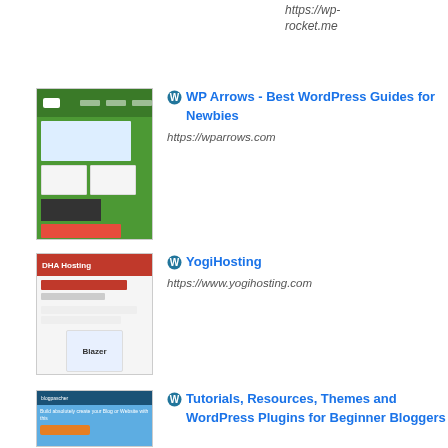https://wp-rocket.me
WP Arrows - Best WordPress Guides for Newbies
https://wparrows.com
YogiHosting
https://www.yogihosting.com
Tutorials, Resources, Themes and WordPress Plugins for Beginner Bloggers
https://en.blogpascher.com
Misha Rudrastyh Blog about WordPress and WooCommerce
https://rudrastyh.com
Best jQuery Plugins & Wordpress Themes and Plugins - jQueryWP
https://jquerywp.com